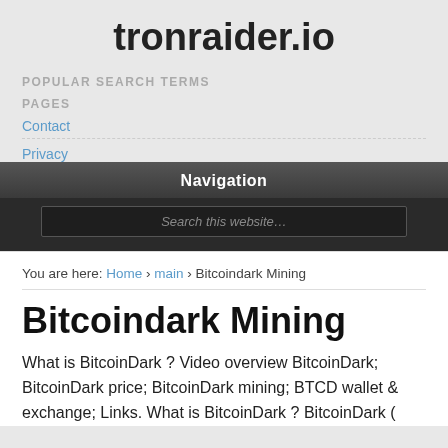tronraider.io
POPULAR SEARCH TERMS
PAGES
Contact
Privacy
Navigation
Search this website…
You are here: Home › main › Bitcoindark Mining
Bitcoindark Mining
What is BitcoinDark ? Video overview BitcoinDark; BitcoinDark price; BitcoinDark mining; BTCD wallet & exchange; Links. What is BitcoinDark ? BitcoinDark (